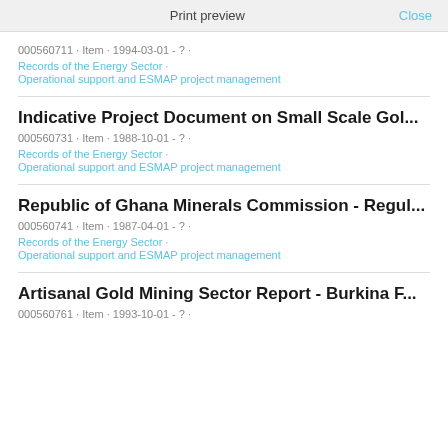Print preview   Close
000560711 · Item · 1994-03-01 - ? ·
Records of the Energy Sector ·
Operational support and ESMAP project management
Indicative Project Document on Small Scale Gol...
000560731 · Item · 1988-10-01 - ? ·
Records of the Energy Sector ·
Operational support and ESMAP project management
Republic of Ghana Minerals Commission - Regul...
000560741 · Item · 1987-04-01 - ? ·
Records of the Energy Sector ·
Operational support and ESMAP project management
Artisanal Gold Mining Sector Report - Burkina F...
000560761 · Item · 1993-10-01 - ? ·